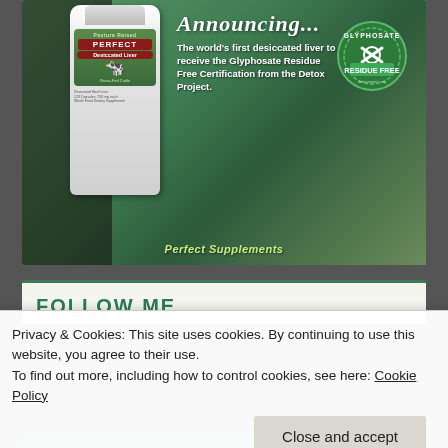[Figure (photo): Advertisement for Perfect Supplements Desiccated Liver product. Shows a supplement bottle labeled 'Pasture Raised Perfect Desiccated Liver' against a green outdoor background. Text reads 'Announcing The world's first desiccated liver to receive the Glyphosate Residue Free Certification from the Detox Project.' A circular green badge shows 'Glyphosate Residue Free detoxproject.org'. Bottom shows 'Perfect Supplements' branding.]
FOLLOW ME
Privacy & Cookies: This site uses cookies. By continuing to use this website, you agree to their use.
To find out more, including how to control cookies, see here: Cookie Policy
Close and accept